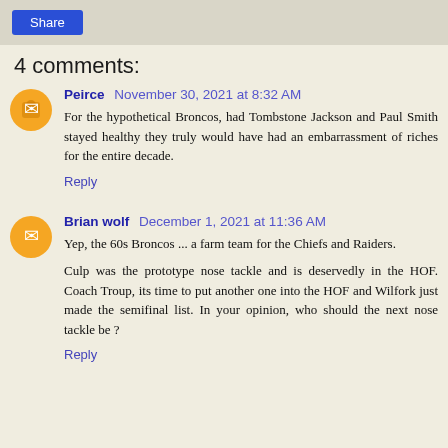[Figure (other): Share button bar with blue Share button]
4 comments:
Peirce November 30, 2021 at 8:32 AM
For the hypothetical Broncos, had Tombstone Jackson and Paul Smith stayed healthy they truly would have had an embarrassment of riches for the entire decade.
Reply
Brian wolf December 1, 2021 at 11:36 AM
Yep, the 60s Broncos ... a farm team for the Chiefs and Raiders.
Culp was the prototype nose tackle and is deservedly in the HOF. Coach Troup, its time to put another one into the HOF and Wilfork just made the semifinal list. In your opinion, who should the next nose tackle be ?
Reply